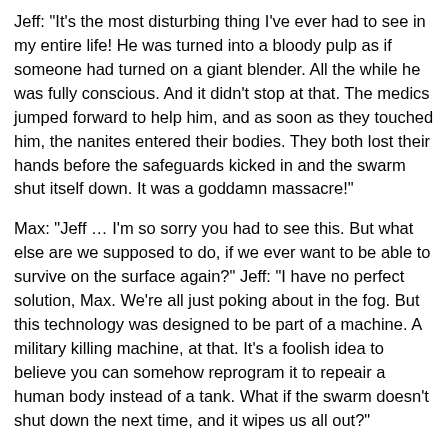Jeff: "It's the most disturbing thing I've ever had to see in my entire life! He was turned into a bloody pulp as if someone had turned on a giant blender. All the while he was fully conscious. And it didn't stop at that. The medics jumped forward to help him, and as soon as they touched him, the nanites entered their bodies. They both lost their hands before the safeguards kicked in and the swarm shut itself down. It was a goddamn massacre!"
Max: "Jeff … I'm so sorry you had to see this. But what else are we supposed to do, if we ever want to be able to survive on the surface again?" Jeff: "I have no perfect solution, Max. We're all just poking about in the fog. But this technology was designed to be part of a machine. A military killing machine, at that. It's a foolish idea to believe you can somehow reprogram it to repeair a human body instead of a tank. What if the swarm doesn't shut down the next time, and it wipes us all out?"
Max: "You need help Jeff. Please …"
Jeff: "No, you need help! This isn't ethical! It's not even rational!"
Max: "Please, Jeff, calm down. You should take a few weeks off…